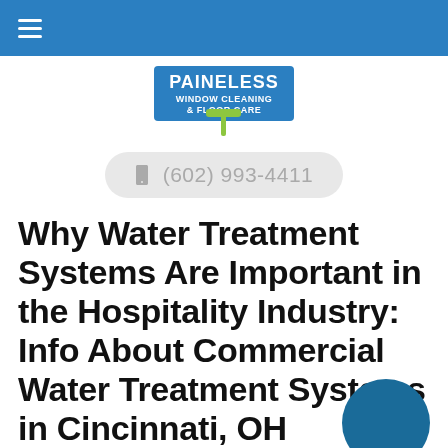Navigation bar with hamburger menu
[Figure (logo): Paineless Window Cleaning & Floor Care logo with green squeegee icon]
(602) 993-4411
Why Water Treatment Systems Are Important in the Hospitality Industry: Info About Commercial Water Treatment Systems in Cincinnati, OH
February 12, 2018